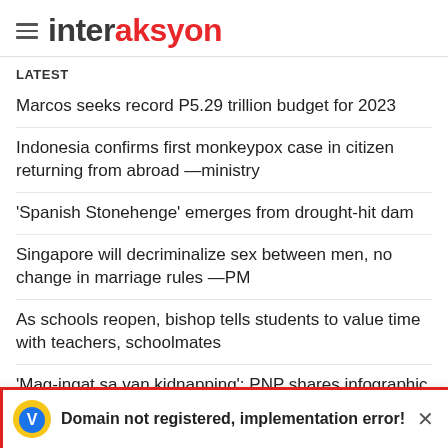interaksyon
LATEST
Marcos seeks record P5.29 trillion budget for 2023
Indonesia confirms first monkeypox case in citizen returning from abroad —ministry
'Spanish Stonehenge' emerges from drought-hit dam
Singapore will decriminalize sex between men, no change in marriage rules —PM
As schools reopen, bishop tells students to value time with teachers, schoolmates
'Mag-ingat sa van kidnapping': PNP shares infographic on how to stay safe
Domain not registered, implementation error!